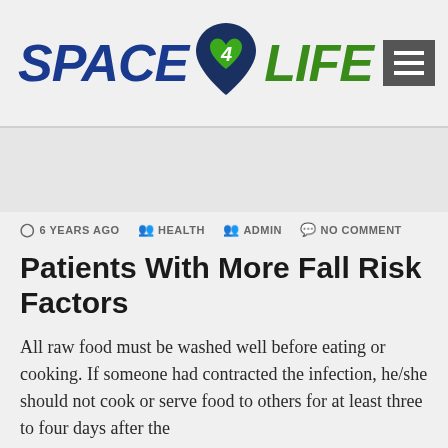SPACE 4 LIFE
6 YEARS AGO   HEALTH   ADMIN   NO COMMENT
Patients With More Fall Risk Factors
All raw food must be washed well before eating or cooking. If someone had contracted the infection, he/she should not cook or serve food to others for at least three to four days after the